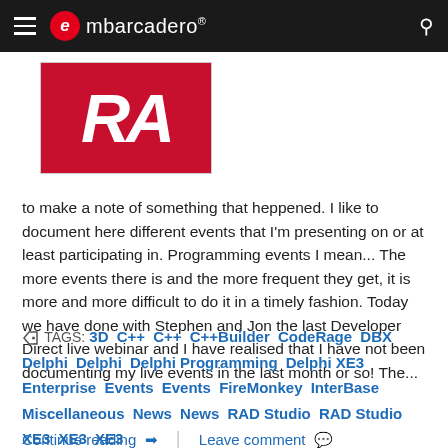embarcadero
[Figure (logo): Red RX logo image with white text on red background, bordered box]
to make a note of something that heppened. I like to document here different events that I'm presenting on or at least participating in. Programming events I mean... The more events there is and the more frequent they get, it is more and more difficult to do it in a timely fashion. Today we have done with Stephen and Jon the last Developer Direct live webinar and I have realised that I have not been documenting my live events in the last month or so! The...
TAGS: 3D  C++  C++  C++Builder  CodeRage  DBX  Delphi  Delphi  Delphi Programming  Delphi XE3  Enterprise  Events  Events  FireMonkey  InterBase  Miscellaneous  News  News  RAD Studio  RAD Studio XE3  XE3  XE3
Continue reading  ❯   |   Leave comment 💬